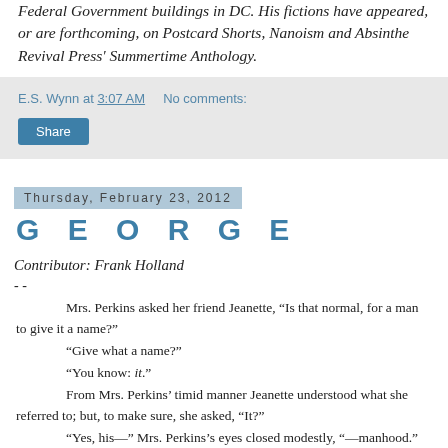Federal Government buildings in DC. His fictions have appeared, or are forthcoming, on Postcard Shorts, Nanoism and Absinthe Revival Press' Summertime Anthology.
E.S. Wynn at 3:07 AM   No comments:
Share
Thursday, February 23, 2012
G E O R G E
Contributor: Frank Holland
- -
Mrs. Perkins asked her friend Jeanette, “Is that normal, for a man to give it a name?”
“Give what a name?”
“You know: it.”
From Mrs. Perkins’ timid manner Jeanette understood what she referred to; but, to make sure, she asked, “It?”
“Yes, his—” Mrs. Perkins’s eyes closed modestly, “—manhood.” Then she